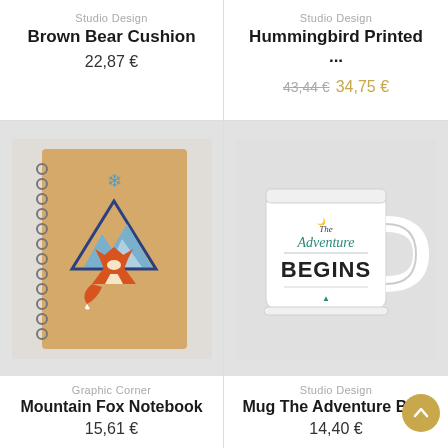Studio Design
Brown Bear Cushion
22,87 €
Studio Design
Hummingbird Printed ...
43,44 €  34,75 €
[Figure (photo): Spiral notebook with fox mountain geometric design on kraft paper cover]
Graphic Corner
Mountain Fox Notebook
15,61 €
[Figure (photo): White ceramic mug with 'The Adventure Begins' typography in teal and black]
Studio Design
Mug The Adventure Be...
14,40 €